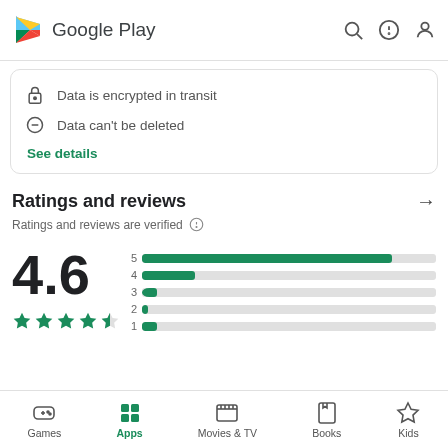Google Play
Data is encrypted in transit
Data can't be deleted
See details
Ratings and reviews
Ratings and reviews are verified
[Figure (bar-chart): Rating distribution]
4.6
Games  Apps  Movies & TV  Books  Kids